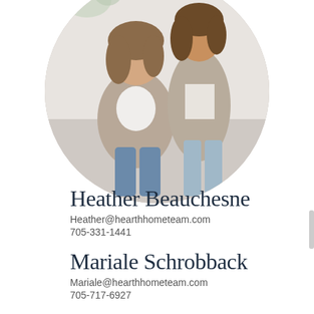[Figure (photo): Circular cropped photo of two women posing together in a bright studio setting. Left woman is seated wearing a white top and beige blazer with jeans. Right woman is standing wearing a beige cardigan with jeans. Floral white backdrop visible.]
Heather Beauchesne
Heather@hearthhometeam.com
705-331-1441
Mariale Schrobback
Mariale@hearthhometeam.com
705-717-6927